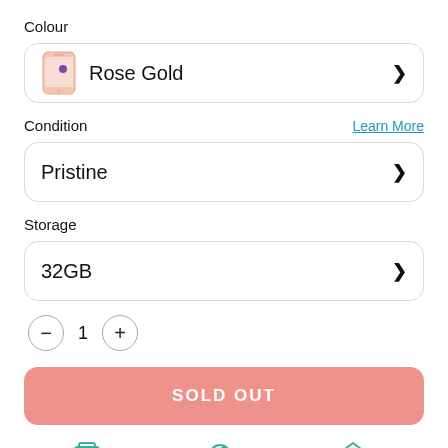Colour
Rose Gold
Condition
Learn More
Pristine
Storage
32GB
- 1 +
SOLD OUT